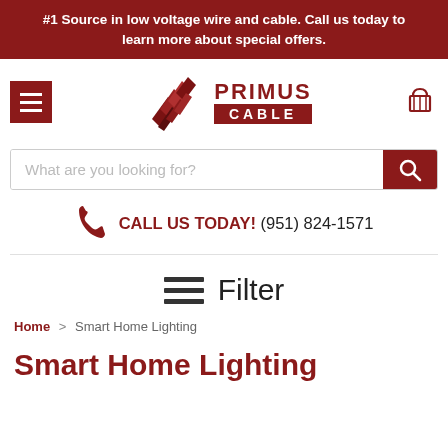#1 Source in low voltage wire and cable. Call us today to learn more about special offers.
[Figure (logo): Primus Cable logo with red geometric diamond shape and text PRIMUS CABLE]
What are you looking for?
CALL US TODAY! (951) 824-1571
Filter
Home > Smart Home Lighting
Smart Home Lighting